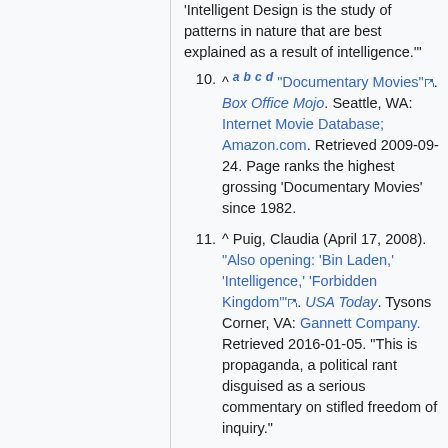(continuation) 'Intelligent Design is the study of patterns in nature that are best explained as a result of intelligence.'"
10. ^ a b c d "Documentary Movies". Box Office Mojo. Seattle, WA: Internet Movie Database; Amazon.com. Retrieved 2009-09-24. Page ranks the highest grossing 'Documentary Movies' since 1982.
11. ^ Puig, Claudia (April 17, 2008). "Also opening: 'Bin Laden,' 'Intelligence,' 'Forbidden Kingdom'". USA Today. Tysons Corner, VA: Gannett Company. Retrieved 2016-01-05. "This is propaganda, a political rant disguised as a serious commentary on stifled freedom of inquiry."
12. ^ Shermer, Michael (April 9, 2008). "Expelled: No Intelligence Allowed--Ben Stein Launches a Science-free Attack on Darwin". Scientific American. Stuttgart: Georg von